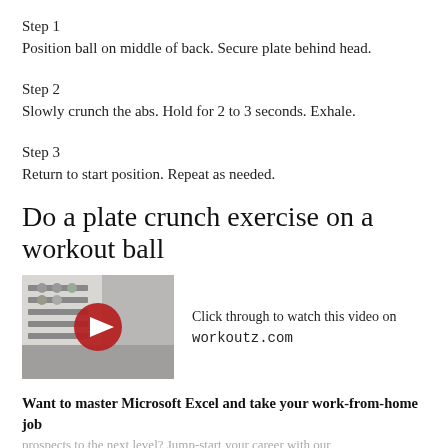Step 1
Position ball on middle of back. Secure plate behind head.
Step 2
Slowly crunch the abs. Hold for 2 to 3 seconds. Exhale.
Step 3
Return to start position. Repeat as needed.
Do a plate crunch exercise on a workout ball
[Figure (screenshot): Video thumbnail showing a gym scene with a play button overlay, linking to workoutz.com]
Click through to watch this video on workoutz.com
Want to master Microsoft Excel and take your work-from-home job prospects to the next level? Jump-start your career with our Premium A-to-Z Microsoft Excel Training Bundle from the new